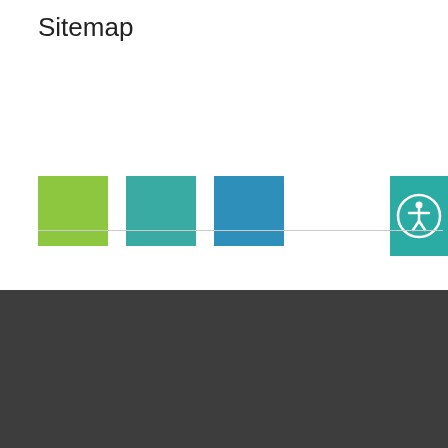Sitemap
[Figure (other): Three colored squares (green, teal, blue) representing color swatches or navigation elements, plus a teal accessibility icon button on the right]
This website uses technology specified in our Privacy Policy to enhance your experience and show you relevant information. You can consent by closing this notice, or continuing to browse the website.
Accept and close